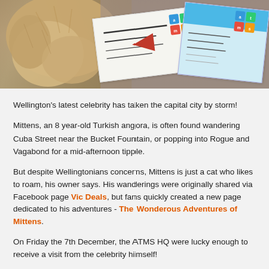[Figure (photo): A fluffy golden/cream cat paw resting on carpet next to ATMS branded cards/papers with an arrow graphic and logo.]
Wellington's latest celebrity has taken the capital city by storm!
Mittens, an 8 year-old Turkish angora, is often found wandering Cuba Street near the Bucket Fountain, or popping into Rogue and Vagabond for a mid-afternoon tipple.
But despite Wellingtonians concerns, Mittens is just a cat who likes to roam, his owner says. His wanderings were originally shared via Facebook page Vic Deals, but fans quickly created a new page dedicated to his adventures - The Wonderous Adventures of Mittens.
On Friday the 7th December, the ATMS HQ were lucky enough to receive a visit from the celebrity himself!
It was early morning when Mittens decided to wander into the office for some early morning shopping, promptly